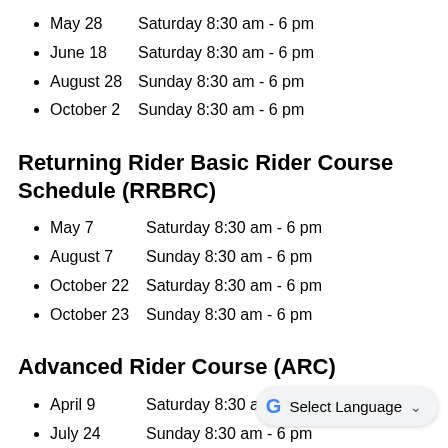May 28   Saturday 8:30 am - 6 pm
June 18   Saturday 8:30 am - 6 pm
August 28   Sunday 8:30 am - 6 pm
October 2   Sunday 8:30 am - 6 pm
Returning Rider Basic Rider Course Schedule (RRBRC)
May 7   Saturday 8:30 am - 6 pm
August 7   Sunday 8:30 am - 6 pm
October 22   Saturday 8:30 am - 6 pm
October 23   Sunday 8:30 am - 6 pm
Advanced Rider Course (ARC)
April 9   Saturday 8:30 am - 6 pm
July 24   Sunday 8:30 am - 6 pm
August 14   Sunday 8:30am - 6pm
October 1   Saturday 8:30am - 6pm